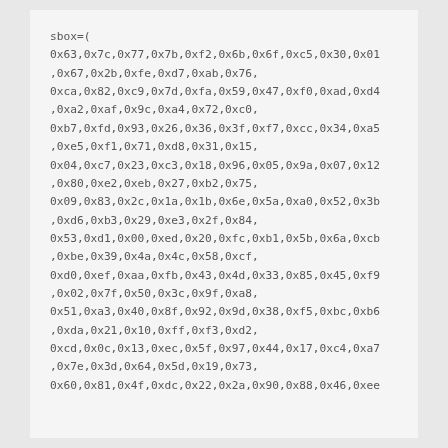sbox=(
0x63,0x7c,0x77,0x7b,0xf2,0x6b,0x6f,0xc5,0x30,0x01,0x67,0x2b,0xfe,0xd7,0xab,0x76,
0xca,0x82,0xc9,0x7d,0xfa,0x59,0x47,0xf0,0xad,0xd4,0xa2,0xaf,0x9c,0xa4,0x72,0xc0,
0xb7,0xfd,0x93,0x26,0x36,0x3f,0xf7,0xcc,0x34,0xa5,0xe5,0xf1,0x71,0xd8,0x31,0x15,
0x04,0xc7,0x23,0xc3,0x18,0x96,0x05,0x9a,0x07,0x12,0x80,0xe2,0xeb,0x27,0xb2,0x75,
0x09,0x83,0x2c,0x1a,0x1b,0x6e,0x5a,0xa0,0x52,0x3b,0xd6,0xb3,0x29,0xe3,0x2f,0x84,
0x53,0xd1,0x00,0xed,0x20,0xfc,0xb1,0x5b,0x6a,0xcb,0xbe,0x39,0x4a,0x4c,0x58,0xcf,
0xd0,0xef,0xaa,0xfb,0x43,0x4d,0x33,0x85,0x45,0xf9,0x02,0x7f,0x50,0x3c,0x9f,0xa8,
0x51,0xa3,0x40,0x8f,0x92,0x9d,0x38,0xf5,0xbc,0xb6,0xda,0x21,0x10,0xff,0xf3,0xd2,
0xcd,0x0c,0x13,0xec,0x5f,0x97,0x44,0x17,0xc4,0xa7,0x7e,0x3d,0x64,0x5d,0x19,0x73,
0x60,0x81,0x4f,0xdc,0x22,0x2a,0x90,0x88,0x46,0xee